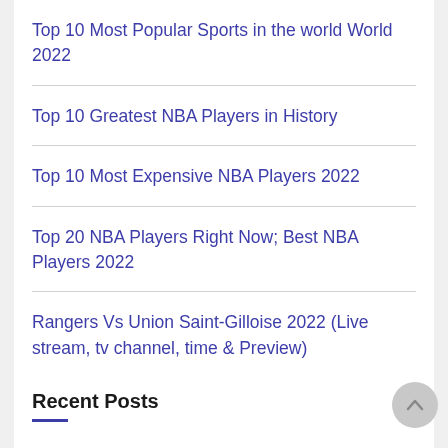Top 10 Most Popular Sports in the world World 2022
Top 10 Greatest NBA Players in History
Top 10 Most Expensive NBA Players 2022
Top 20 NBA Players Right Now; Best NBA Players 2022
Rangers Vs Union Saint-Gilloise 2022 (Live stream, tv channel, time & Preview)
Recent Posts